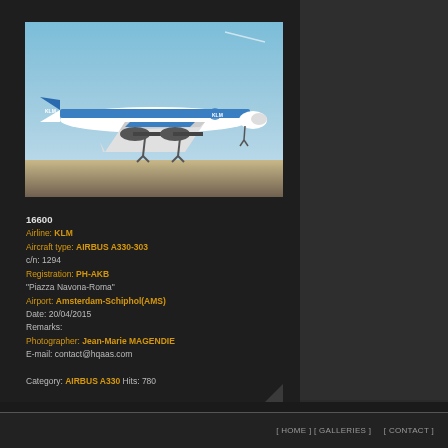[Figure (photo): KLM Airbus A330-303 aircraft in flight against a blue sky, landing gear down, photographed from below/side. Aircraft has blue KLM livery with white belly.]
16600
Airline: KLM
Aircraft type: AIRBUS A330-303
c/n: 1294
Registration: PH-AKB
"Piazza Navona-Roma"
Airport: Amsterdam-Schiphol(AMS)
Date: 20/04/2015
Remarks:
Photographer: Jean-Marie MAGENDIE
E-mail: contact@hqaas.com

Category: AIRBUS A330 Hits: 780
[ HOME ] [ GALLERIES ]      [ CONTACT ]